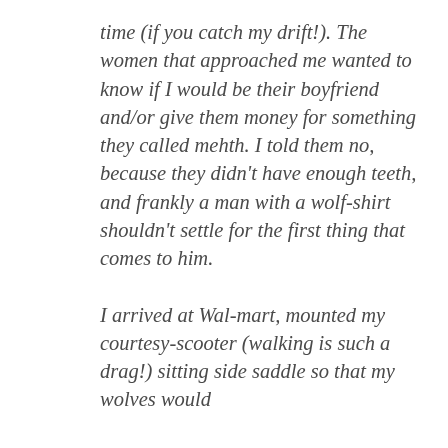time (if you catch my drift!). The women that approached me wanted to know if I would be their boyfriend and/or give them money for something they called mehth. I told them no, because they didn't have enough teeth, and frankly a man with a wolf-shirt shouldn't settle for the first thing that comes to him.
I arrived at Wal-mart, mounted my courtesy-scooter (walking is such a drag!) sitting side saddle so that my wolves would